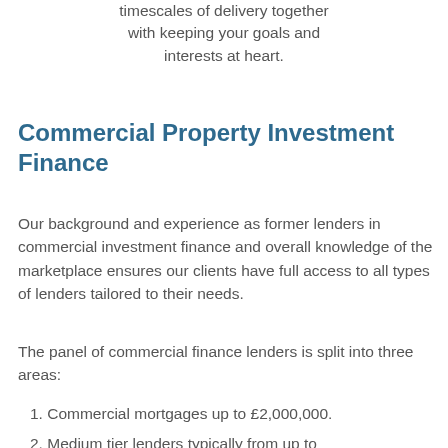timescales of delivery together with keeping your goals and interests at heart.
Commercial Property Investment Finance
Our background and experience as former lenders in commercial investment finance and overall knowledge of the marketplace ensures our clients have full access to all types of lenders tailored to their needs.
The panel of commercial finance lenders is split into three areas:
1. Commercial mortgages up to £2,000,000.
2. Medium tier lenders typically from up to